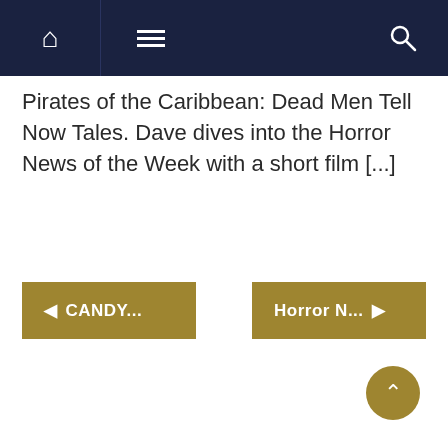Navigation bar with home, menu, and search icons
Pirates of the Caribbean: Dead Men Tell Now Tales. Dave dives into the Horror News of the Week with a short film [...]
◄ CANDY...
Horror N... ►